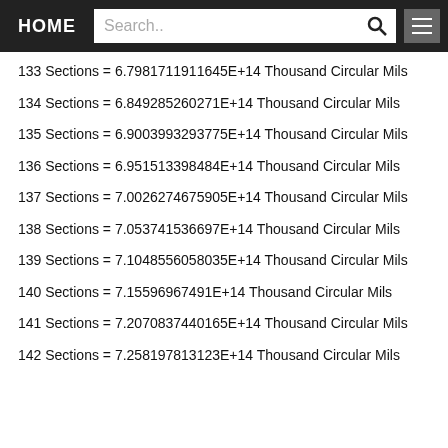HOME | Search..
133 Sections = 6.7981711911645E+14 Thousand Circular Mils
134 Sections = 6.849285260271E+14 Thousand Circular Mils
135 Sections = 6.9003993293775E+14 Thousand Circular Mils
136 Sections = 6.951513398484E+14 Thousand Circular Mils
137 Sections = 7.0026274675905E+14 Thousand Circular Mils
138 Sections = 7.053741536697E+14 Thousand Circular Mils
139 Sections = 7.1048556058035E+14 Thousand Circular Mils
140 Sections = 7.15596967491E+14 Thousand Circular Mils
141 Sections = 7.2070837440165E+14 Thousand Circular Mils
142 Sections = 7.258197813123E+14 Thousand Circular Mils